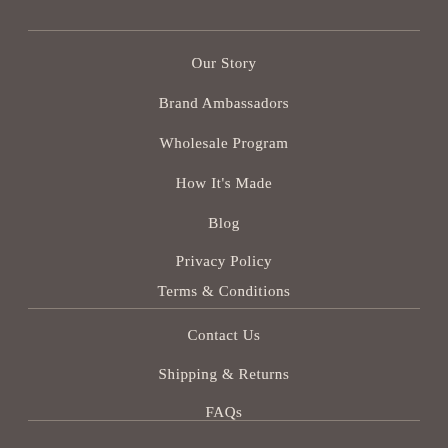Our Story
Brand Ambassadors
Wholesale Program
How It's Made
Blog
Privacy Policy
Terms & Conditions
Contact Us
Shipping & Returns
FAQs